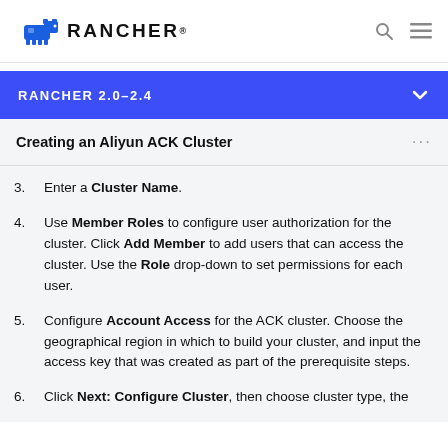RANCHER
RANCHER 2.0-2.4
Creating an Aliyun ACK Cluster
3. Enter a Cluster Name.
4. Use Member Roles to configure user authorization for the cluster. Click Add Member to add users that can access the cluster. Use the Role drop-down to set permissions for each user.
5. Configure Account Access for the ACK cluster. Choose the geographical region in which to build your cluster, and input the access key that was created as part of the prerequisite steps.
6. Click Next: Configure Cluster, then choose cluster type, the